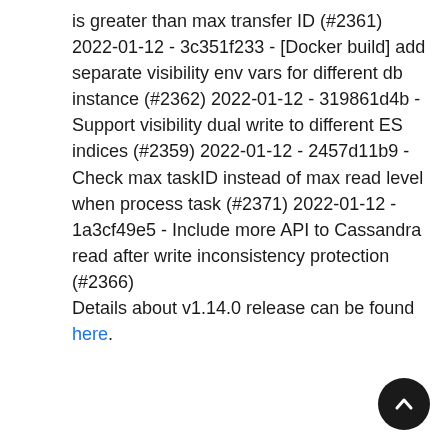is greater than max transfer ID (#2361) 2022-01-12 - 3c351f233 - [Docker build] add separate visibility env vars for different db instance (#2362) 2022-01-12 - 319861d4b - Support visibility dual write to different ES indices (#2359) 2022-01-12 - 2457d11b9 - Check max taskID instead of max read level when process task (#2371) 2022-01-12 - 1a3cf49e5 - Include more API to Cassandra read after write inconsistency protection (#2366) Details about v1.14.0 release can be found here.